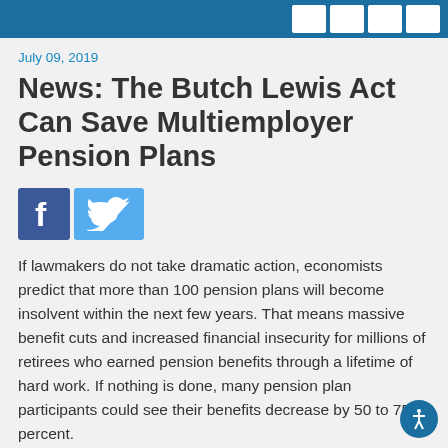July 09, 2019
News: The Butch Lewis Act Can Save Multiemployer Pension Plans
[Figure (logo): Facebook and Twitter social sharing icon buttons]
If lawmakers do not take dramatic action, economists predict that more than 100 pension plans will become insolvent within the next few years. That means massive benefit cuts and increased financial insecurity for millions of retirees who earned pension benefits through a lifetime of hard work. If nothing is done, many pension plan participants could see their benefits decrease by 50 to 75 percent.
The issue affects more than just pension plan